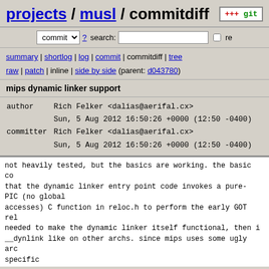projects / musl / commitdiff
commit ? search: re
summary | shortlog | log | commit | commitdiff | tree
raw | patch | inline | side by side (parent: d043780)
mips dynamic linker support
author    Rich Felker <dalias@aerifal.cx>
          Sun, 5 Aug 2012 16:50:26 +0000 (12:50 -0400)
committer Rich Felker <dalias@aerifal.cx>
          Sun, 5 Aug 2012 16:50:26 +0000 (12:50 -0400)
not heavily tested, but the basics are working. the basic co that the dynamic linker entry point code invokes a pure-PIC (no global
accesses) C function in reloc.h to perform the early GOT rel needed to make the dynamic linker itself functional, then i __dynlink like on other archs. since mips uses some ugly arc specific
hacks to optimize relocating the GOT (rather than just using normal DT_REL[A] tables like on other archs), the dynamic li been modified slightly to support calling arch-specific relocation
code in reloc.h.

most of the actual mips-